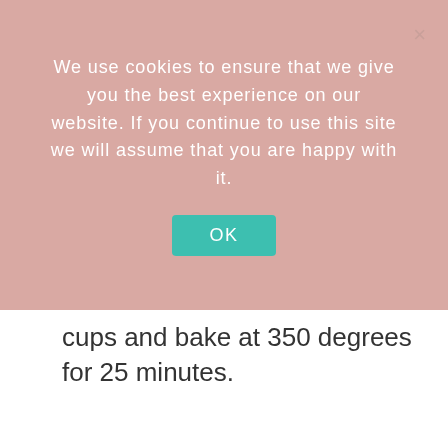We use cookies to ensure that we give you the best experience on our website. If you continue to use this site we will assume that you are happy with it.
OK
cups and bake at 350 degrees for 25 minutes.
4   let the muffins cool down completely- super important for they to keep their shape.
5   store in the fridge or freezer in an airtight container and enjoy!